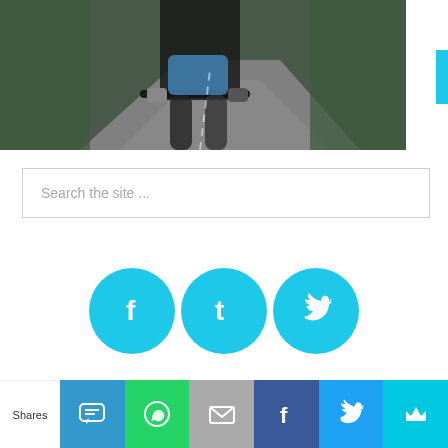[Figure (photo): Cyclist on a road, view from behind showing legs and bicycle, road curves ahead with green vegetation]
Search the site ...
[Figure (infographic): Three cyan/blue circular social media icons: Facebook (f), Tumblr (t), Twitter (bird)]
LATEST ARTICLES
[Figure (photo): Thumbnail image for article - appears to show hands]
This Pre-Ride Warm Up Will
[Figure (infographic): Share bar at bottom with icons: Shares label, chat/SMS (blue), WhatsApp (green), email (gray), Facebook (dark blue), Twitter (light blue), crown (cyan)]